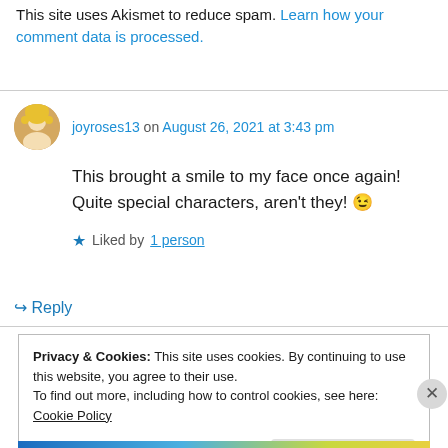This site uses Akismet to reduce spam. Learn how your comment data is processed.
joyroses13 on August 26, 2021 at 3:43 pm
This brought a smile to my face once again! Quite special characters, aren't they! 😉
★ Liked by 1 person
↪ Reply
Privacy & Cookies: This site uses cookies. By continuing to use this website, you agree to their use. To find out more, including how to control cookies, see here: Cookie Policy
Close and accept